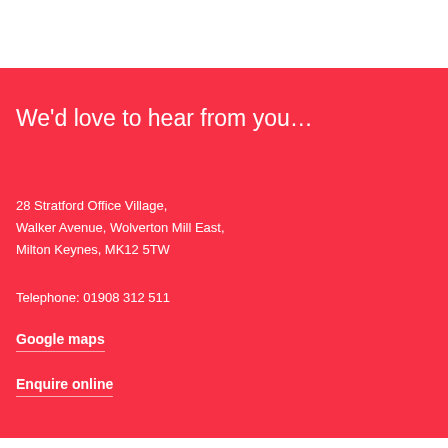We'd love to hear from you…
28 Stratford Office Village,
Walker Avenue, Wolverton Mill East,
Milton Keynes, MK12 5TW
Telephone: 01908 312 511
Google maps
Enquire online